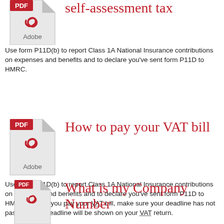[Figure (illustration): Adobe PDF file icon with red PDF label badge in upper left corner]
self-assessment tax
Use form P11D(b) to report Class 1A National Insurance contributions on expenses and benefits and to declare you've sent form P11D to HMRC.
[Figure (illustration): Adobe PDF file icon with red PDF label badge in upper left corner]
How to pay your VAT bill
Use form P11D(b) to report Class 1A National Insurance contributions on expenses and benefits and to declare you've sent form P11D to HMRC. Before you pay your VAT bill, make sure your deadline has not passed. Your deadline will be shown on your VAT return.
[Figure (illustration): Adobe PDF file icon with red PDF label badge in upper left corner]
What is my Company Number